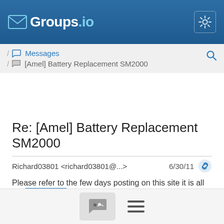Groups.io
Messages / [Amel] Battery Replacement SM2000
Re: [Amel] Battery Replacement SM2000
Richard03801 <richard03801@...>  6/30/11
Please refer to the few days posting on this site it is all there.
Regards
Richard Piller